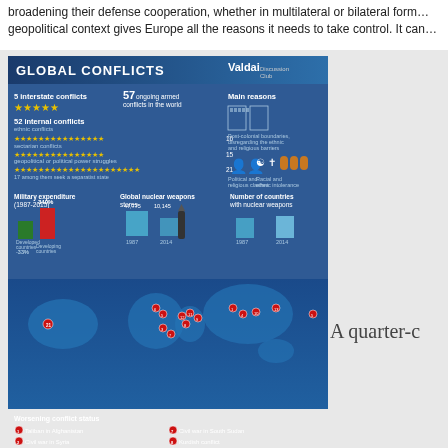broadening their defense cooperation, whether in multilateral or bilateral form... geopolitical context gives Europe all the reasons it needs to take control. It can...
[Figure (infographic): Global Conflicts infographic by Valdai showing 5 interstate conflicts, 57 ongoing armed conflicts, 52 internal conflicts, military expenditure chart (1987-2015), global nuclear weapons stores chart, number of countries with nuclear weapons, world map with worsening and unchanging conflict hotspots, and list of conflicts including Taliban in Afghanistan, Civil war in Syria, Violence in the Central African Republic, etc.]
A quarter-c